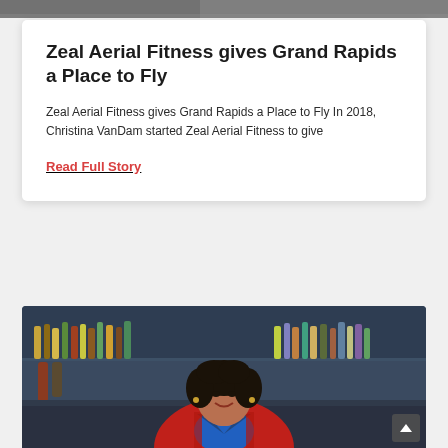[Figure (photo): Top strip of a photo showing what appears to be an aerial fitness or gym setting, partially cropped]
Zeal Aerial Fitness gives Grand Rapids a Place to Fly
Zeal Aerial Fitness gives Grand Rapids a Place to Fly In 2018, Christina VanDam started Zeal Aerial Fitness to give
Read Full Story
[Figure (photo): A woman with curly dark hair wearing a red and black jacket with a blue shirt, standing in front of a bar with bottles on shelves behind her, smiling at the camera]